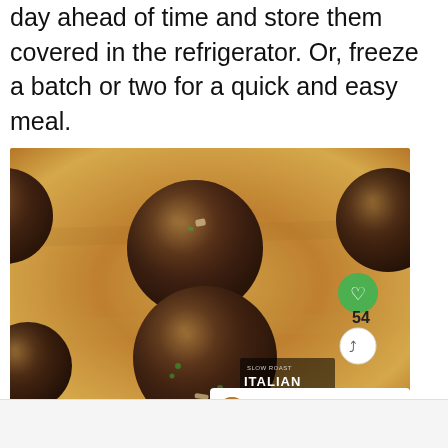day ahead of time and store them covered in the refrigerator. Or, freeze a batch or two for a quick and easy meal.
[Figure (photo): Photo of raw meatballs arranged on parchment paper on a baking sheet, with a heart/like button overlay (54 likes), a share button, 'Slow Roast Italian' branding, and a 'What's Next: KFC Gravy Recipe' thumbnail overlay in the corner.]